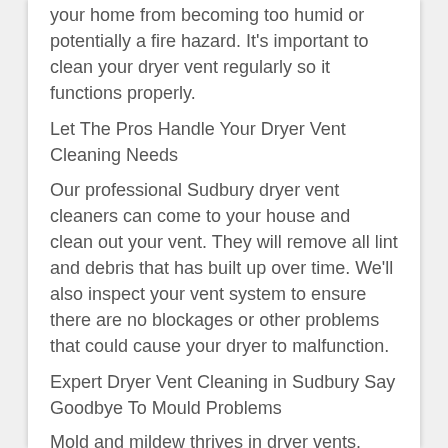your home from becoming too humid or potentially a fire hazard. It's important to clean your dryer vent regularly so it functions properly.
Let The Pros Handle Your Dryer Vent Cleaning Needs
Our professional Sudbury dryer vent cleaners can come to your house and clean out your vent. They will remove all lint and debris that has built up over time. We'll also inspect your vent system to ensure there are no blockages or other problems that could cause your dryer to malfunction.
Expert Dryer Vent Cleaning in Sudbury Say Goodbye To Mould Problems
Mold and mildew thrives in dryer vents. This can cause a musty odor and possibly lead to serious health issues. Our Sudbury dryer vent cleaners can remove all mould and mildew from the vent, leaving you with a fresh, clean home.
We don't use harsh chemicals, abrasive scrub pads or